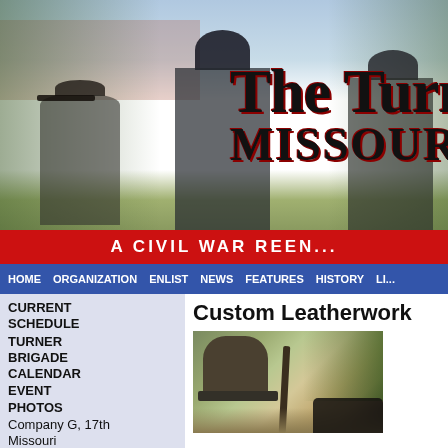[Figure (photo): Civil War reenactors in uniform standing outdoors, website header photo with trees and building in background]
The Turn... MISSOURI V...
A CIVIL WAR REEN...
HOME  ORGANIZATION  ENLIST  NEWS  FEATURES  HISTORY  LI...
CURRENT SCHEDULE
TURNER BRIGADE CALENDAR
EVENT PHOTOS
Company G, 17th Missouri Infantry
Company K, 1st Missouri Light...
Custom Leatherwork
[Figure (photo): Civil War era leather equipment including hat and rifle, outdoor setting]